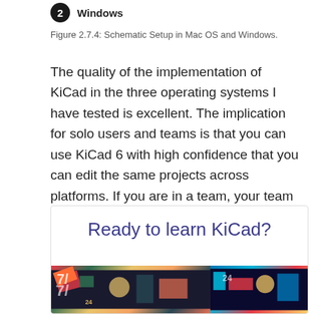[Figure (other): Badge with number 2 and label Windows]
Figure 2.7.4: Schematic Setup in Mac OS and Windows.
The quality of the implementation of KiCad in the three operating systems I have tested is excellent. The implication for solo users and teams is that you can use KiCad 6 with high confidence that you can edit the same projects across platforms. If you are in a team, your team members will work using their preferred operating system.
[Figure (illustration): Promotional box with 'Ready to learn KiCad?' heading and two thumbnail images of colorful PCB designs at the bottom]